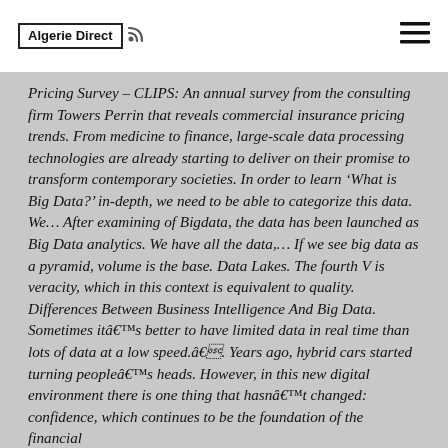Algerie Direct
Pricing Survey – CLIPS: An annual survey from the consulting firm Towers Perrin that reveals commercial insurance pricing trends. From medicine to finance, large-scale data processing technologies are already starting to deliver on their promise to transform contemporary societies. In order to learn ‘What is Big Data?’ in-depth, we need to be able to categorize this data. We… After examining of Bigdata, the data has been launched as Big Data analytics. We have all the data,… If we see big data as a pyramid, volume is the base. Data Lakes. The fourth V is veracity, which in this context is equivalent to quality. Differences Between Business Intelligence And Big Data. Sometimes itâ€™s better to have limited data in real time than lots of data at a low speed.â€. Years ago, hybrid cars started turning peopleâ€™s heads. However, in this new digital environment there is one thing that hasnâ€™t changed: confidence, which continues to be the foundation of the financial